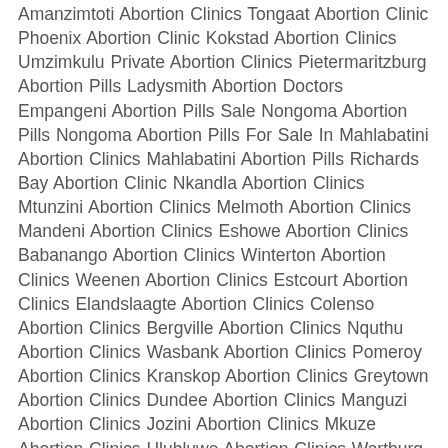Amanzimtoti Abortion Clinics Tongaat Abortion Clinic Phoenix Abortion Clinic Kokstad Abortion Clinics Umzimkulu Private Abortion Clinics Pietermaritzburg Abortion Pills Ladysmith Abortion Doctors Empangeni Abortion Pills Sale Nongoma Abortion Pills Nongoma Abortion Pills For Sale In Mahlabatini Abortion Clinics Mahlabatini Abortion Pills Richards Bay Abortion Clinic Nkandla Abortion Clinics Mtunzini Abortion Clinics Melmoth Abortion Clinics Mandeni Abortion Clinics Eshowe Abortion Clinics Babanango Abortion Clinics Winterton Abortion Clinics Weenen Abortion Clinics Estcourt Abortion Clinics Elandslaagte Abortion Clinics Colenso Abortion Clinics Bergville Abortion Clinics Nquthu Abortion Clinics Wasbank Abortion Clinics Pomeroy Abortion Clinics Kranskop Abortion Clinics Greytown Abortion Clinics Dundee Abortion Clinics Manguzi Abortion Clinics Jozini Abortion Clinics Mkuze Abortion Clinics Hluhluwe Abortion Clinics Wartburg Abortion Clinics Richmond Abortion Clinics New Hanover Abortion Clinics Mooi River Abortion Clinics Merrivale Abortion Clinics Howick Abortion Clinics in Manguzi Abortion Clinics Umzumbe Abortion Clinics Umzinto Abortion Clinics Umkomaas Abortion Clinics Scottburgh Abortion Clinics